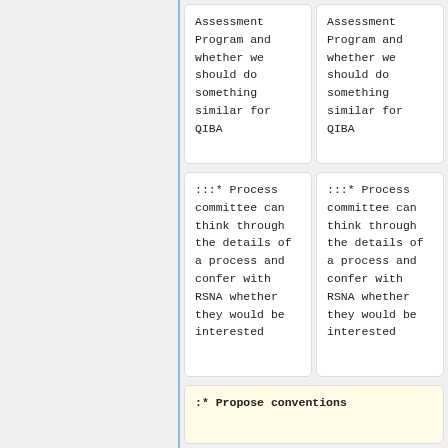Assessment Program and whether we should do something similar for QIBA
Assessment Program and whether we should do something similar for QIBA
:::* Process committee can think through the details of a process and confer with RSNA whether they would be interested
:::* Process committee can think through the details of a process and confer with RSNA whether they would be interested
:* Propose conventions